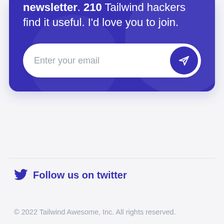newsletter. 210 Tailwind hackers find it useful. I'd love you to join.
[Figure (other): Email subscription input field with send button on blue card]
Follow us on twitter
© 2022 Tailwind Awesome, Inc. All rights reserved.